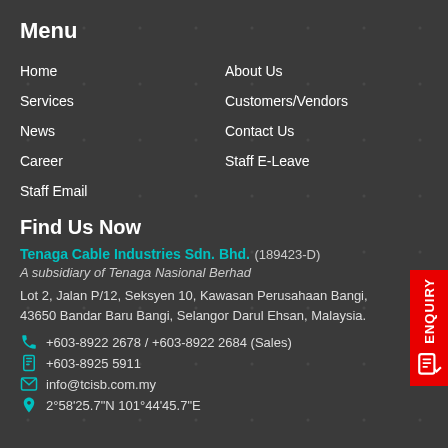Menu
Home
About Us
Services
Customers/Vendors
News
Contact Us
Career
Staff E-Leave
Staff Email
Find Us Now
Tenaga Cable Industries Sdn. Bhd. (189423-D)
A subsidiary of Tenaga Nasional Berhad
Lot 2, Jalan P/12, Seksyen 10, Kawasan Perusahaan Bangi, 43650 Bandar Baru Bangi, Selangor Darul Ehsan, Malaysia.
+603-8922 2678 / +603-8922 2684 (Sales)
+603-8925 5911
info@tcisb.com.my
2°58'25.7"N 101°44'45.7"E